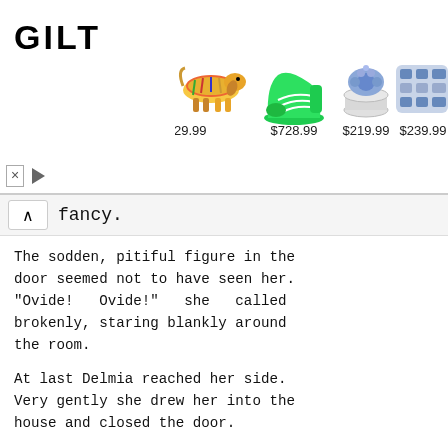[Figure (screenshot): GILT advertisement banner with logo and four product images (colorful dachshund figurine, green sneaker, sapphire ring, sapphire bracelet) with prices $129.99, $728.99, $219.99, $239.99]
fancy.
The sodden, pitiful figure in the door seemed not to have seen her. "Ovide! Ovide!" she called brokenly, staring blankly around the room.
At last Delmia reached her side. Very gently she drew her into the house and closed the door.
"Has Ovide not come, then?" she asked again, as she sank on the crazy rocking-chair.
"Is Ovide coming?" asked her sister, wonderingly.
The blood rushed back to the Little Mother's face, and she rose